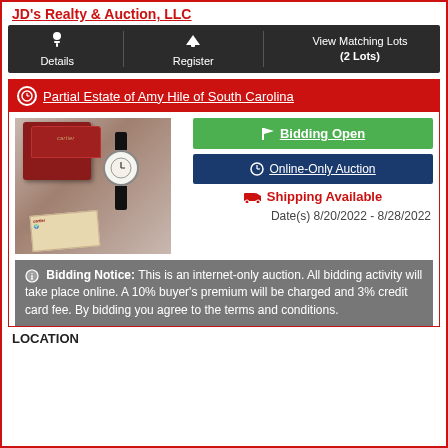JD's Realty & Auction, LLC
[Figure (infographic): Dark navigation bar with Details, Register, and View Matching Lots (2 Lots) options]
Partial Estate of Amy Hile of South Carolina
[Figure (photo): Photo of a Cartier watch with red presentation box and paperwork]
Bidding Open
Online-Only Auction
Shipping Available
Date(s) 8/20/2022 - 8/28/2022
Bidding Notice: This is an internet-only auction. All bidding activity will take place online. A 10% buyer's premium will be charged and 3% credit card fee. By bidding you agree to the terms and conditions.
LOCATION